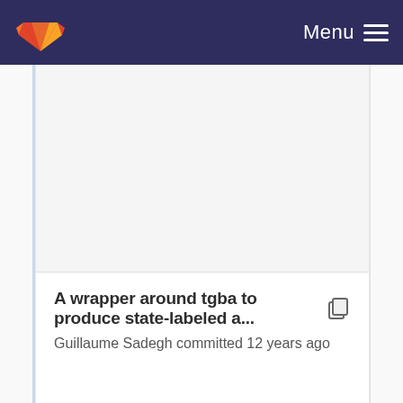Menu
A wrapper around tgba to produce state-labeled a...
Guillaume Sadegh committed 12 years ago